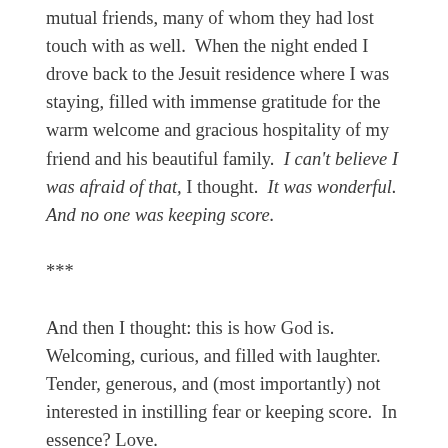mutual friends, many of whom they had lost touch with as well.  When the night ended I drove back to the Jesuit residence where I was staying, filled with immense gratitude for the warm welcome and gracious hospitality of my friend and his beautiful family.  I can't believe I was afraid of that, I thought.  It was wonderful.  And no one was keeping score.
***
And then I thought: this is how God is. Welcoming, curious, and filled with laughter. Tender, generous, and (most importantly) not interested in instilling fear or keeping score.  In essence? Love.
My friends lovingly welcomed me into their home that evening, back into their lives, and they lovingly shared of their experiences and treasure, and